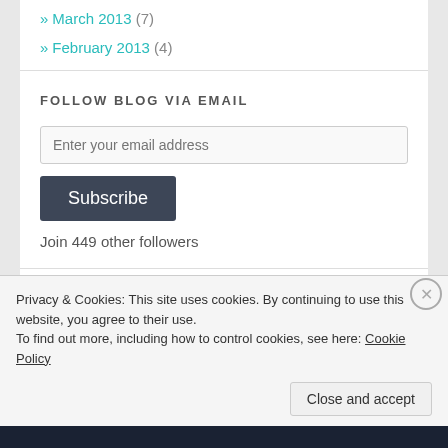» March 2013 (7)
» February 2013 (4)
FOLLOW BLOG VIA EMAIL
Enter your email address
Subscribe
Join 449 other followers
TAGS
Privacy & Cookies: This site uses cookies. By continuing to use this website, you agree to their use.
To find out more, including how to control cookies, see here: Cookie Policy
Close and accept